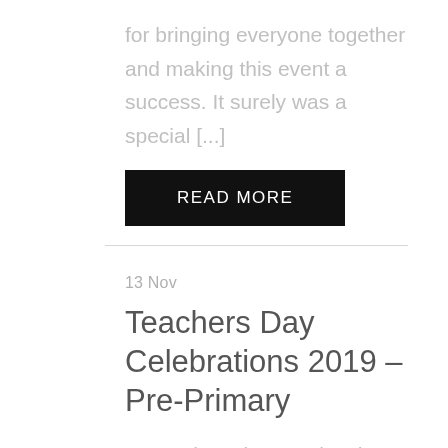for bringing everyone together and making this event a success. It surely was a special [...]
READ MORE
13 Nov
Teachers Day Celebrations 2019 – Pre-Primary
“A good teacher can inspire hope, ignite